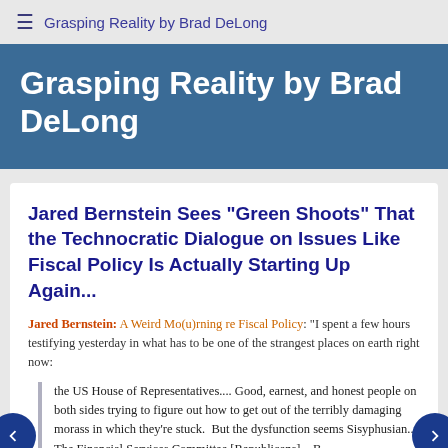≡ Grasping Reality by Brad DeLong
Grasping Reality by Brad DeLong
Jared Bernstein Sees "Green Shoots" That the Technocratic Dialogue on Issues Like Fiscal Policy Is Actually Starting Up Again...
Jared Bernstein: A Weird Mo(u)rning re Fiscal Policy: "I spent a few hours testifying yesterday in what has to be one of the strangest places on earth right now:
the US House of Representatives.... Good, earnest, and honest people on both sides trying to figure out how to get out of the terribly damaging morass in which they're stuck. But the dysfunction seems Sisyphusian.... The Financial Services Committee [Republicans]... B